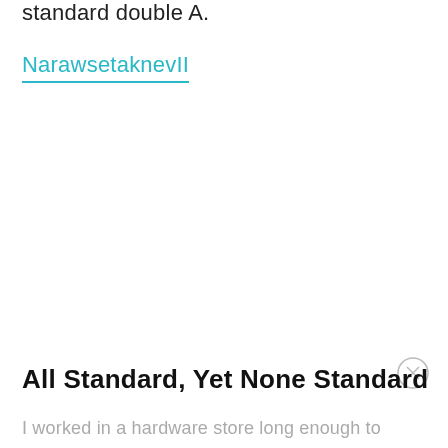standard double A.
NarawsetaknevII
All Standard, Yet None Standard
I worked in a hardware store long enough to